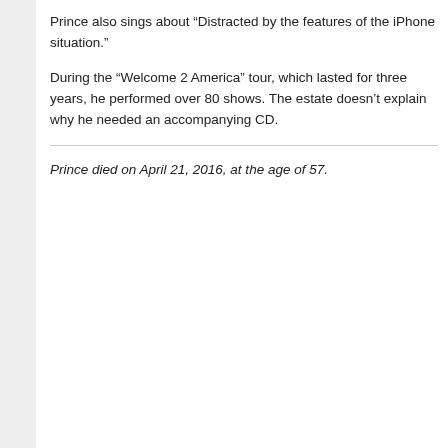Prince also sings about “Distracted by the features of the iPhone situation.”
During the “Welcome 2 America” tour, which lasted for three years, he performed over 80 shows. The estate doesn’t explain why he needed an accompanying CD.
Prince died on April 21, 2016, at the age of 57.